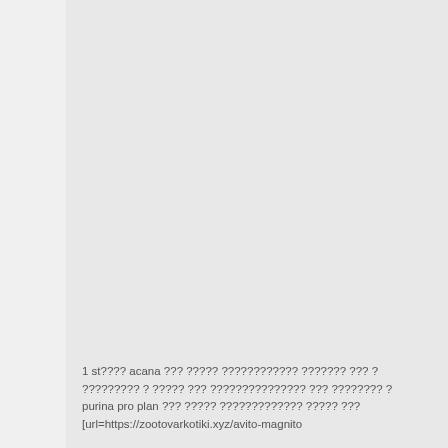1 st???? acana ??? ????? ???????????? ??????? ??? ????????? ? ????? ??? ??????????????? ??? ???????? purina pro plan ??? ????? ????????????? ????? ??? [url=https://zootovarkotiki.xyz/avito-magnito